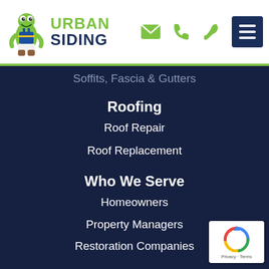[Figure (logo): Urban Siding logo with green gecko mascot and text 'URBAN SIDING' in green and navy blue]
Urban Siding navigation header with email, phone, wrench icons and hamburger menu
Soffits, Fascia & Gutters
Roofing
Roof Repair
Roof Replacement
Who We Serve
Homeowners
Property Managers
Restoration Companies
Send Us A Message